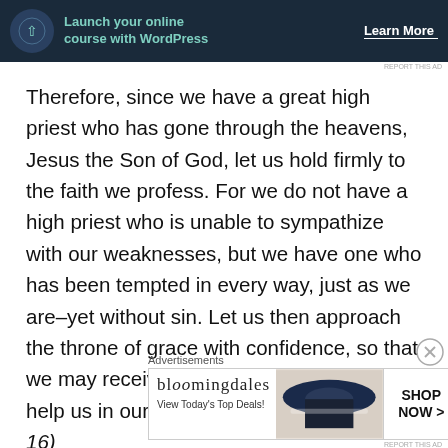[Figure (other): Advertisement banner: Launch your online course with WordPress — Learn More]
Therefore, since we have a great high priest who has gone through the heavens, Jesus the Son of God, let us hold firmly to the faith we profess. For we do not have a high priest who is unable to sympathize with our weaknesses, but we have one who has been tempted in every way, just as we are–yet without sin. Let us then approach the throne of grace with confidence, so that we may receive mercy and find grace to help us in our time of need. (Hebrews 4:14-16)
[Figure (other): Bloomingdale's advertisement — View Today's Top Deals! SHOP NOW >]